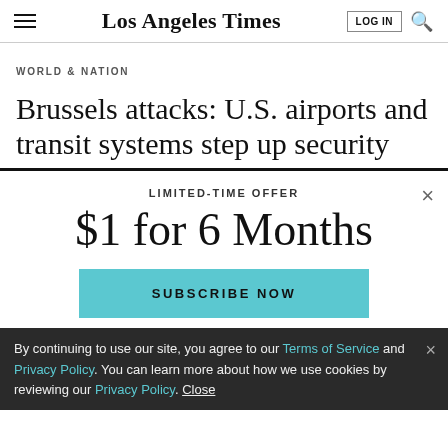Los Angeles Times
WORLD & NATION
Brussels attacks: U.S. airports and transit systems step up security
LIMITED-TIME OFFER
$1 for 6 Months
SUBSCRIBE NOW
By continuing to use our site, you agree to our Terms of Service and Privacy Policy. You can learn more about how we use cookies by reviewing our Privacy Policy. Close